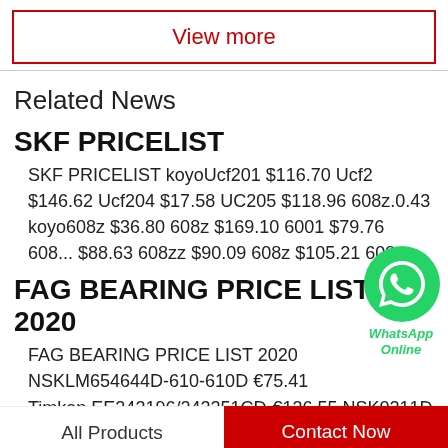View more
Related News
SKF PRICELIST
SKF PRICELIST koyoUcf201 $116.70 Ucf2... $146.62 Ucf204 $17.58 UC205 $118.96 608z... .0.43 koyo608z $36.80 608z $169.10 6001 $79.76 608... $88.63 608zz $90.09 608z $105.21 608z...
FAG BEARING PRICE LIST 2020
FAG BEARING PRICE LIST 2020 NSKLM654644D-610-610D €75.41 Timken EE243196/243251CD-€136.55 NSK0211D...
All Products    Contact Now